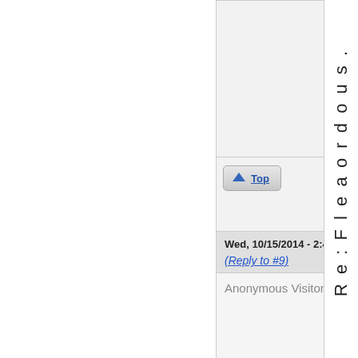[Figure (screenshot): Top gray content box area (partial, above buttons)]
[Figure (screenshot): Buttons area with 'Top' button and 'quote' button]
Wed, 10/15/2014 - 2:42pm
(Reply to #9)  #10
Anonymous Visitor
o r d o u s .
R e : F l e a